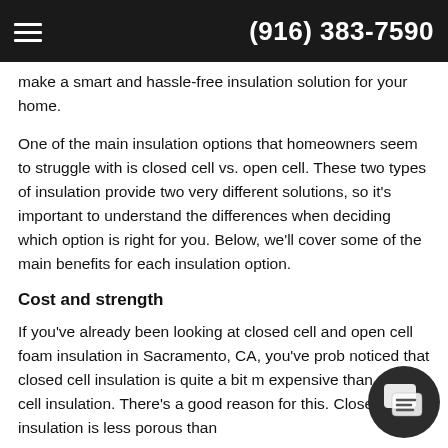(916) 383-7590
make a smart and hassle-free insulation solution for your home.
One of the main insulation options that homeowners seem to struggle with is closed cell vs. open cell. These two types of insulation provide two very different solutions, so it's important to understand the differences when deciding which option is right for you. Below, we'll cover some of the main benefits for each insulation option.
Cost and strength
If you've already been looking at closed cell and open cell foam insulation in Sacramento, CA, you've probably noticed that closed cell insulation is quite a bit more expensive than open cell insulation. There's a good reason for this. Closed cell insulation is less porous than